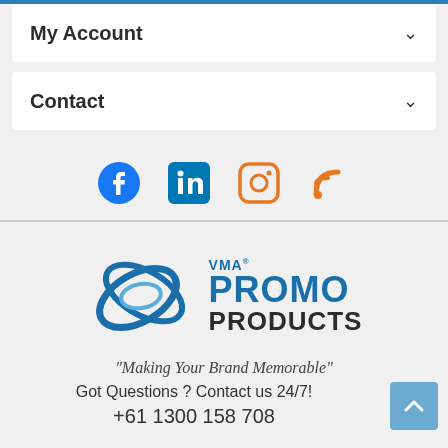My Account
Contact
[Figure (infographic): Social media icons: Facebook (blue circle), LinkedIn (blue square), Instagram (orange outline square), RSS feed (orange)]
[Figure (logo): VMA Promo Products logo with blue interlocking ellipses graphic and text 'VMA® PROMO PRODUCTS' with tagline 'Making Your Brand Memorable']
Got Questions ? Contact us 24/7!
+61 1300 158 708